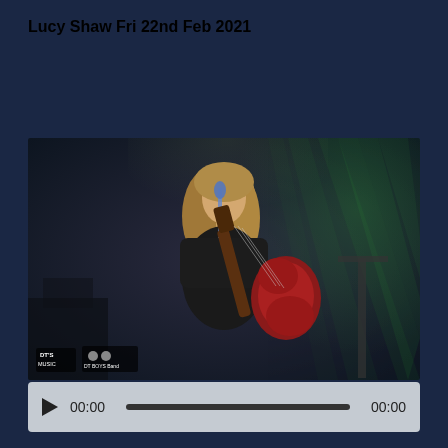Lucy Shaw Fri 22nd Feb 2021
[Figure (photo): A young female musician performing on stage with a red guitar, singing into a microphone, illuminated by green stage lights. Logos visible in bottom-left corner: 'DT'S MUSIC' and 'DT BOYS Band'.]
00:00  00:00